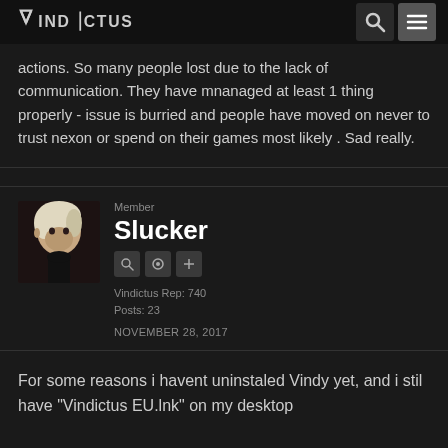Vindictus
actions. So many people lost due to the lack of communication. They have mnanaged at least 1 thing properly - issue is burried and people have moved on never to trust nexon or spend on their games most likely . Sad really.
Member
Slucker
Vindictus Rep: 740
Posts: 23
NOVEMBER 28, 2017
For some reasons i havent uninstaled Vindy yet, and i stil have "Vindictus EU.lnk" on my desktop